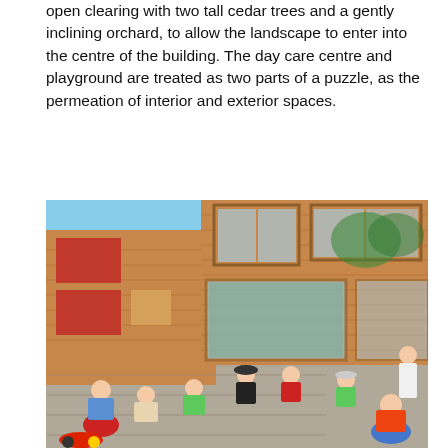open clearing with two tall cedar trees and a gently inclining orchard, to allow the landscape to enter into the centre of the building. The day care centre and playground are treated as two parts of a puzzle, as the permeation of interior and exterior spaces.
[Figure (photo): Photograph of a modern wooden day care centre building with children playing in the courtyard. The building features warm cedar wood cladding, large windows, and red-accented shutters. Many young children are visible in the foreground playing with red and yellow ride-on toys, while others walk around. An adult woman stands to the right. The courtyard has stone paving and a sunny, summer atmosphere.]